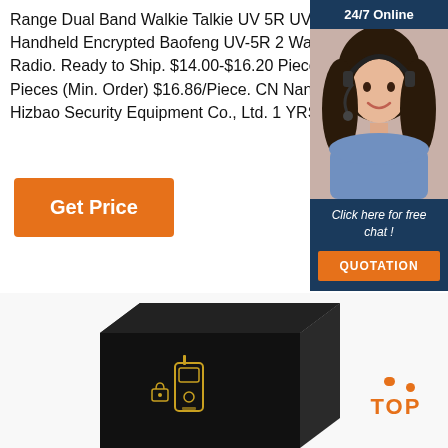Range Dual Band Walkie Talkie UV 5R UV5R Handheld Encrypted Baofeng UV-5R 2 Way Ham Radio. Ready to Ship. $14.00-$16.20 Piece. 2 Pieces (Min. Order) $16.86/Piece. CN Nanning Hizbao Security Equipment Co., Ltd. 1 YRS.
[Figure (other): Get Price orange button]
[Figure (other): 24/7 Online chat widget with photo of woman wearing headset, Click here for free chat!, QUOTATION button]
[Figure (photo): Black product box with gold walkie-talkie icon at bottom of page]
[Figure (other): Orange TOP badge with three dots arranged in triangle above text]